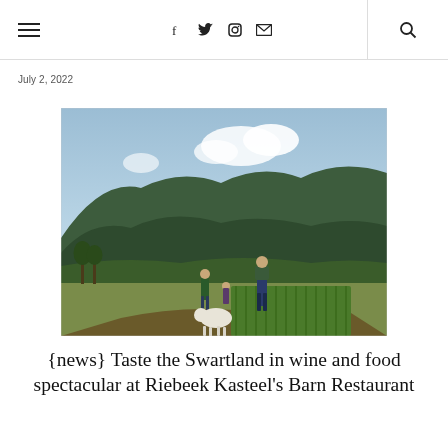☰  f  t  ig  ✉  |  🔍
July 2, 2022
[Figure (photo): People standing in a green farm field with mountain backdrop. One person in the foreground stands in jeans and dark vest. Others visible in background near a white animal (sheep/dog). Lush green mountains and partly cloudy sky.]
{news} Taste the Swartland in wine and food spectacular at Riebeek Kasteel's Barn Restaurant